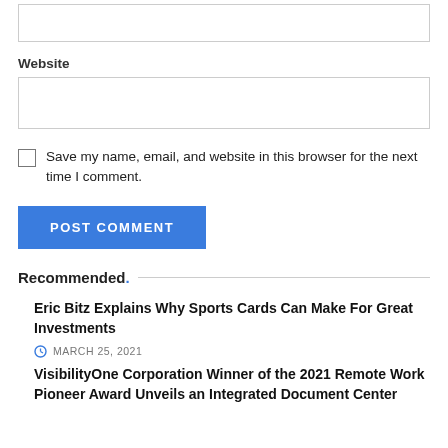[Figure (other): Empty text input box at top of page (partial, cropped)]
Website
[Figure (other): Empty website text input box]
Save my name, email, and website in this browser for the next time I comment.
[Figure (other): POST COMMENT button in blue]
Recommended.
Eric Bitz Explains Why Sports Cards Can Make For Great Investments
MARCH 25, 2021
VisibilityOne Corporation Winner of the 2021 Remote Work Pioneer Award Unveils an Integrated Document Center